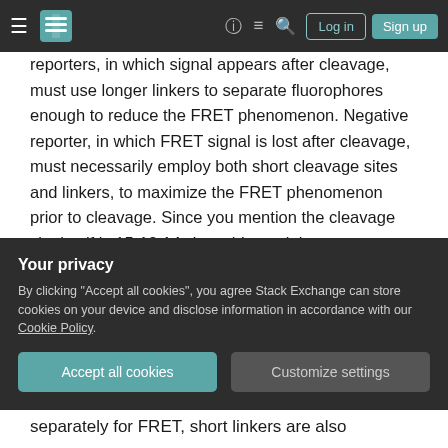Stack Exchange navigation bar with hamburger menu, logo, help, chat, search icons, Log in and Sign up buttons
reporters, in which signal appears after cleavage, must use longer linkers to separate fluorophores enough to reduce the FRET phenomenon. Negative reporter, in which FRET signal is lost after cleavage, must necessarily employ both short cleavage sites and linkers, to maximize the FRET phenomenon prior to cleavage. Since you mention the cleavage site itself is 15-18 AA, I would certainly expect very little FRET when uncleaved, assuming that the linker and cleavage site are unstructured, as
Your privacy
By clicking "Accept all cookies", you agree Stack Exchange can store cookies on your device and disclose information in accordance with our Cookie Policy.
separately for FRET, short linkers are also